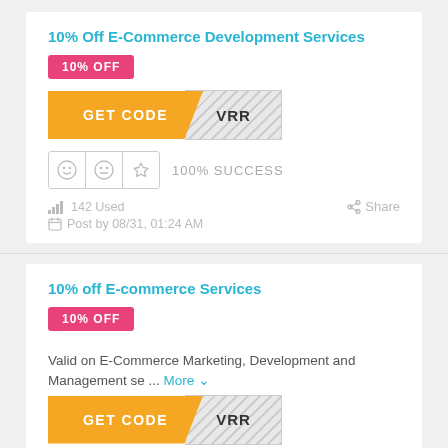10% Off E-Commerce Development Services
10% OFF
[Figure (other): GET CODE button with orange left side and hatched right side showing 'VRR']
100% SUCCESS
142 Used
Share
Post by 08/31, 01:24 AM
10% off E-commerce Services
10% OFF
Valid on E-Commerce Marketing, Development and Management se ... More
[Figure (other): GET CODE button with orange left side and hatched right side showing 'VRR']